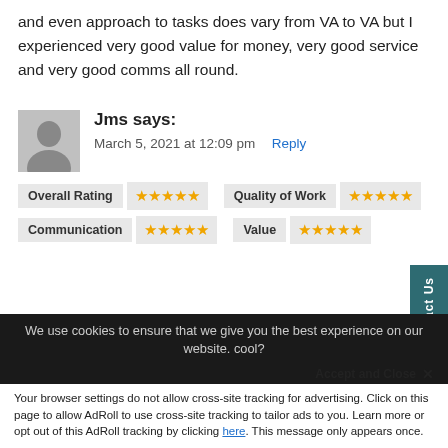and even approach to tasks does vary from VA to VA but I experienced very good value for money, very good service and very good comms all round.
Jms says: March 5, 2021 at 12:09 pm Reply
| Overall Rating | stars | Quality of Work | stars |
| --- | --- | --- | --- |
| Communication | stars | Value | stars |
We use cookies to ensure that we give you the best experience on our website. cool?
Accept and Close ×
Your browser settings do not allow cross-site tracking for advertising. Click on this page to allow AdRoll to use cross-site tracking to tailor ads to you. Learn more or opt out of this AdRoll tracking by clicking here. This message only appears once.